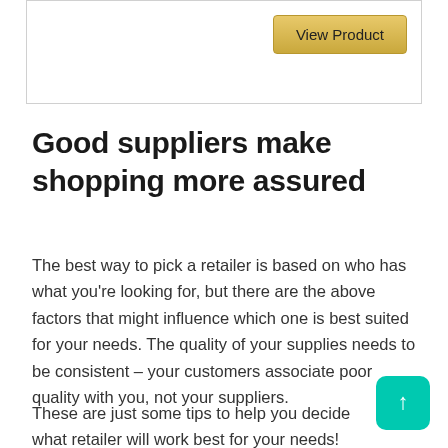[Figure (other): Top card area with 'View Product' button on gold/yellow gradient background]
Good suppliers make shopping more assured
The best way to pick a retailer is based on who has what you're looking for, but there are the above factors that might influence which one is best suited for your needs. The quality of your supplies needs to be consistent – your customers associate poor quality with you, not your suppliers.
These are just some tips to help you decide what retailer will work best for your needs! Look at their